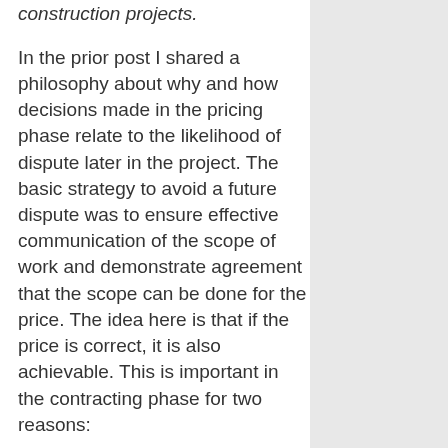construction projects.
In the prior post I shared a philosophy about why and how decisions made in the pricing phase relate to the likelihood of dispute later in the project.  The basic strategy to avoid a future dispute was to ensure effective communication of the scope of work and demonstrate agreement that the scope can be done for the price.  The idea here is that if the price is correct, it is also achievable.  This is important in the contracting phase for two reasons:
1.  If you already did the work to